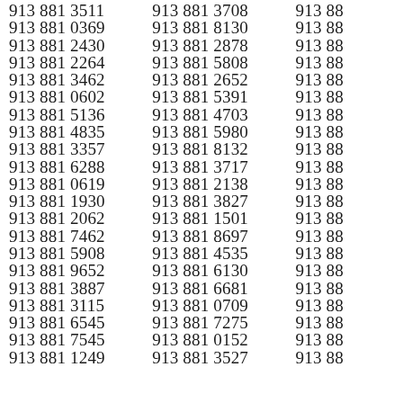913 881 3511
913 881 0369
913 881 2430
913 881 2264
913 881 3462
913 881 0602
913 881 5136
913 881 4835
913 881 3357
913 881 6288
913 881 0619
913 881 1930
913 881 2062
913 881 7462
913 881 5908
913 881 9652
913 881 3887
913 881 3115
913 881 6545
913 881 7545
913 881 1249
913 881 3708
913 881 8130
913 881 2878
913 881 5808
913 881 2652
913 881 5391
913 881 4703
913 881 5980
913 881 8132
913 881 3717
913 881 2138
913 881 3827
913 881 1501
913 881 8697
913 881 4535
913 881 6130
913 881 6681
913 881 0709
913 881 7275
913 881 0152
913 881 3527
913 88
913 88
913 88
913 88
913 88
913 88
913 88
913 88
913 88
913 88
913 88
913 88
913 88
913 88
913 88
913 88
913 88
913 88
913 88
913 88
913 88